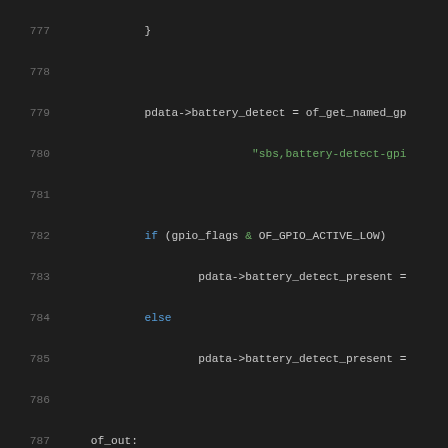[Figure (screenshot): Source code listing showing C code lines 777-798 with syntax highlighting on dark background. Lines include pdata battery detect assignment, gpio_flags condition, of_out label, return statements, #else preprocessor, static struct declarations, and platform_data return.]